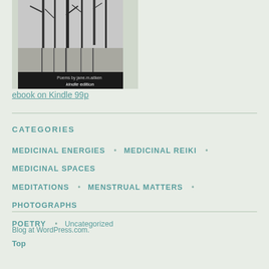[Figure (photo): Black and white photo of a forest stream with bare trees reflected in the water, with text 'Poems by ...' and 'kindle edition' at bottom. Book cover image.]
ebook on Kindle 99p
CATEGORIES
MEDICINAL ENERGIES
MEDICINAL REIKI
MEDICINAL SPACES
MEDITATIONS
MENSTRUAL MATTERS
PHOTOGRAPHS
POETRY
Uncategorized
Blog at WordPress.com.
Top